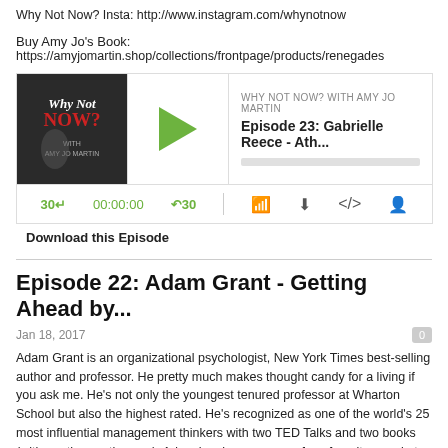Why Not Now? Insta: http://www.instagram.com/whynotnow
Buy Amy Jo's Book:
https://amyjomartin.shop/collections/frontpage/products/renegades
[Figure (screenshot): Podcast player widget for 'Why Not Now? With Amy Jo Martin', Episode 23: Gabrielle Reece - Ath... showing play button, progress bar, and audio controls (30 second skip back, 00:00:00 timer, 30 second skip forward, and icons for share/download/embed/settings)]
Download this Episode
Episode 22: Adam Grant - Getting Ahead by...
Jan 18, 2017
Adam Grant is an organizational psychologist, New York Times best-selling author and professor. He pretty much makes thought candy for a living if you ask me. He's not only the youngest tenured professor at Wharton School but also the highest rated. He's recognized as one of the world's 25 most influential management thinkers with two TED Talks and two books (with another on the way). Adam has become one of my favorite people to learn from online.